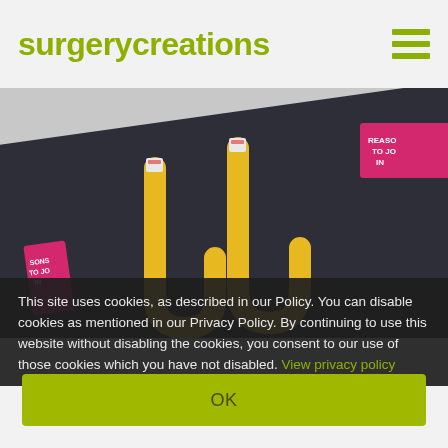surgerycreations
[Figure (photo): Dark grey cards with yellow bent pencils forming letter shapes, and pink 'REASONS TO JOIN' labels in corners]
This site uses cookies, as described in our Policy. You can disable cookies as mentioned in our Privacy Policy. By continuing to use this website without disabling the cookies, you consent to our use of those cookies which you have not disabled. View privacy policy
OK